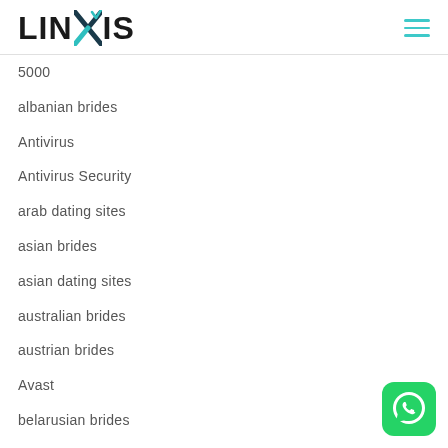LINXIS
5000
albanian brides
Antivirus
Antivirus Security
arab dating sites
asian brides
asian dating sites
australian brides
austrian brides
Avast
belarusian brides
best brides
best dating sites
[Figure (logo): WhatsApp icon button, green rounded square with white phone handset speech bubble icon]